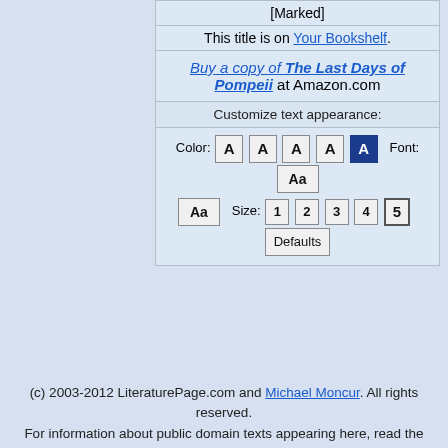[Marked]
This title is on Your Bookshelf.
Buy a copy of The Last Days of Pompeii at Amazon.com
Customize text appearance:
Color: A A A A A  Font: Aa  Aa  Size: 1 2 3 4 5  Defaults
(c) 2003-2012 LiteraturePage.com and Michael Moncur. All rights reserved. For information about public domain texts appearing here, read the copyright information and disclaimer.